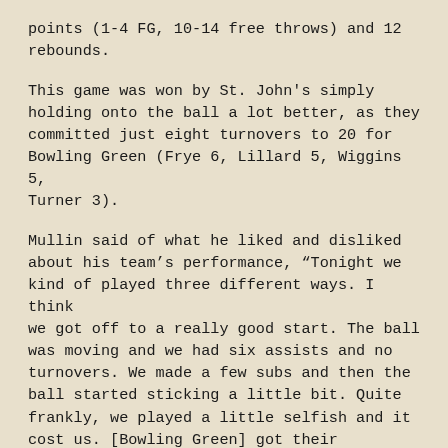points (1-4 FG, 10-14 free throws) and 12 rebounds.
This game was won by St. John's simply holding onto the ball a lot better, as they committed just eight turnovers to 20 for Bowling Green (Frye 6, Lillard 5, Wiggins 5, Turner 3).
Mullin said of what he liked and disliked about his team’s performance, “Tonight we kind of played three different ways. I think we got off to a really good start. The ball was moving and we had six assists and no turnovers. We made a few subs and then the ball started sticking a little bit. Quite frankly, we played a little selfish and it cost us. [Bowling Green] got their confidence and I thought they played a really good game. I think they’re very well coached and talented. They dictated the play